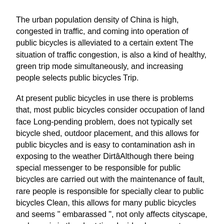The urban population density of China is high, congested in traffic, and coming into operation of public bicycles is alleviated to a certain extent The situation of traffic congestion, is also a kind of healthy, green trip mode simultaneously, and increasing people selects public bicycles Trip.
At present public bicycles in use there is problems that, most public bicycles consider occupation of land face Long-pending problem, does not typically set bicycle shed, outdoor placement, and this allows for public bicycles and is easy to contamination ash in exposing to the weather Dirt—Although there being special messenger to be responsible for public bicycles are carried out with the maintenance of fault, rare people is responsible for specially clear to public bicycles Clean, this allows for many public bicycles and seems " embarassed ", not only affects cityscape, and user is in the short time Inside also cannot thoroughly clean bicycle, the situation that clothes is dirty often occurs—The people that some are liked cleanliness may therefore abandon using, This allows for public bicycles and does not play its due use value—In